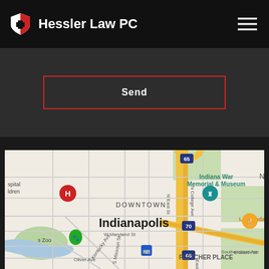Hessler Law PC
Send
[Figure (map): Google Maps screenshot showing downtown Indianapolis, Indiana. Visible landmarks include Indiana War Memorial & Museum, Indianapolis Zoo, DOWNTOWN label, Indianapolis city label, FLETCHER PLACE neighborhood, La Parada restaurant marker, and various road labels including I-65, I-70, N College Ave, N East St, W Maryland St, E South St, Kentucky Ave, Missouri St, Southeastern Ave.]